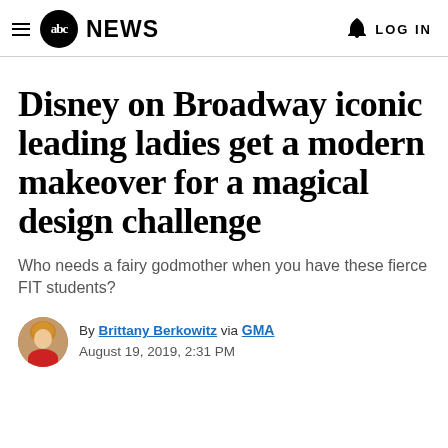abc NEWS | LOG IN
Disney on Broadway iconic leading ladies get a modern makeover for a magical design challenge
Who needs a fairy godmother when you have these fierce FIT students?
By Brittany Berkowitz via GMA
August 19, 2019, 2:31 PM